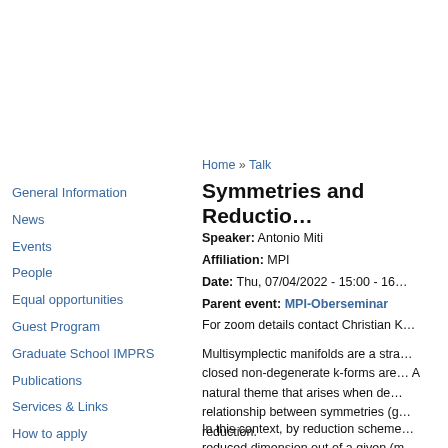General Information
News
Events
People
Equal opportunities
Guest Program
Graduate School IMPRS
Publications
Services & Links
How to apply
Home » Talk
Symmetries and Reductio…
Speaker: Antonio Miti
Affiliation: MPI
Date: Thu, 07/04/2022 - 15:00 - 16…
Parent event: MPI-Oberseminar
For zoom details contact Christian K…
Multisymplectic manifolds are a stra… closed non-degenerate k-forms are… A natural theme that arises when de… relationship between symmetries (g… reduction.
In this context, by reduction scheme… reduced dimension out of a given (m…